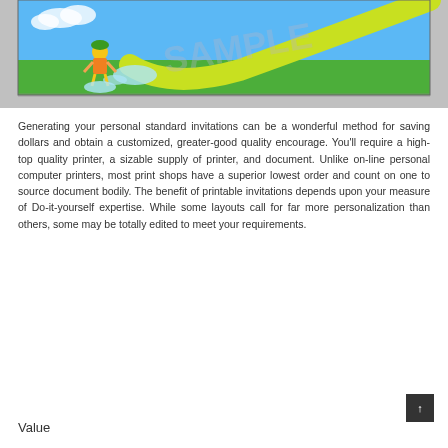[Figure (illustration): Illustration of a cartoon child playing with a water slide on a green background, with 'SAMPLE' watermark. Image is partially cut off at top showing lower portion of the scene.]
Generating your personal standard invitations can be a wonderful method for saving dollars and obtain a customized, greater-good quality encourage. You'll require a high-top quality printer, a sizable supply of printer, and document. Unlike on-line personal computer printers, most print shops have a superior lowest order and count on one to source document bodily. The benefit of printable invitations depends upon your measure of Do-it-yourself expertise. While some layouts call for far more personalization than others, some may be totally edited to meet your requirements.
Value